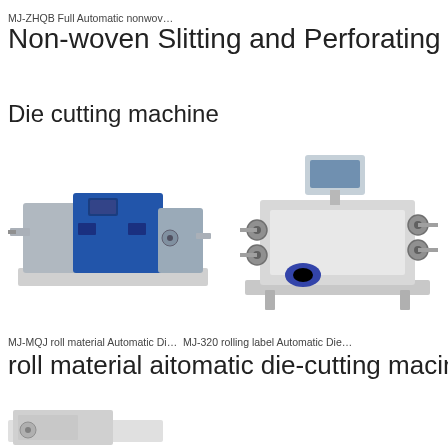MJ-ZHQB Full Automatic nonwov…
Non-woven Slitting and Perforating Rew
Die cutting machine
[Figure (photo): Blue and white industrial die cutting machine, MJ-MQJ roll material Automatic Die cutting machine]
[Figure (photo): White industrial rolling label automatic die cutting machine, MJ-320]
MJ-MQJ roll material Automatic Di…  MJ-320 rolling label Automatic Die…
roll material aitomatic die-cutting macine
[Figure (photo): Partial view of another industrial machine at the bottom of the page]